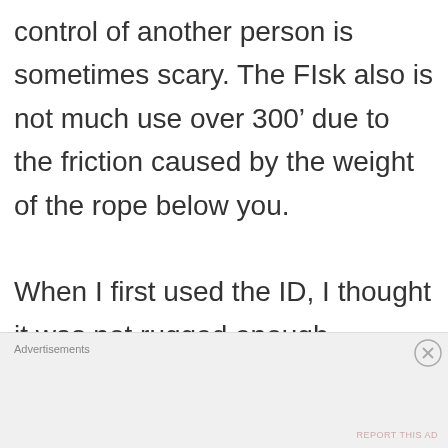control of another person is sometimes scary. The FIsk also is not much use over 300’ due to the friction caused by the weight of the rope below you.

When I first used the ID, I thought it was not rugged enough. Aluminum and plastic at first
Advertisements